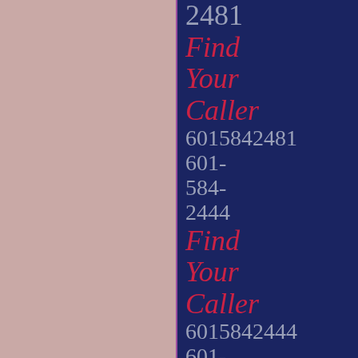2481
Find Your Caller
6015842481
601-
584-
2444
Find Your Caller
6015842444
601-
584-
2458
Find